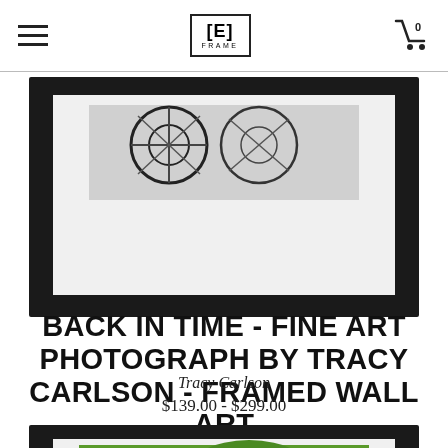E FRAME logo with hamburger menu and cart icon
[Figure (photo): Framed black and white fine art photograph partially visible, showing dark frame with white mat and abstract bicycle/wheel imagery, cropped at top]
BACK IN TIME - FINE ART PHOTOGRAPH BY TRACY CARLSON - FRAMED WALL ART
Tracy Carlson
$139.00 - $299.00
[Figure (photo): Second framed artwork partially visible at bottom, dark frame with green/nature content, cropped]